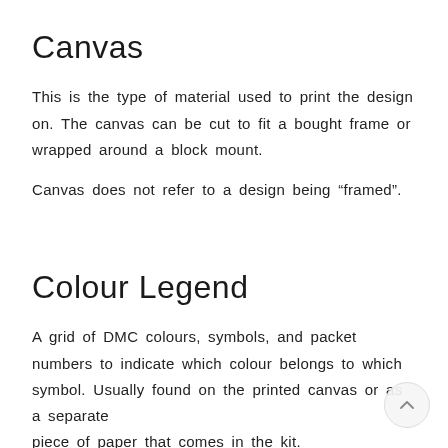Canvas
This is the type of material used to print the design on. The canvas can be cut to fit a bought frame or wrapped around a block mount.
Canvas does not refer to a design being “framed”.
Colour Legend
A grid of DMC colours, symbols, and packet numbers to indicate which colour belongs to which symbol. Usually found on the printed canvas or as a separate piece of paper that comes in the kit.